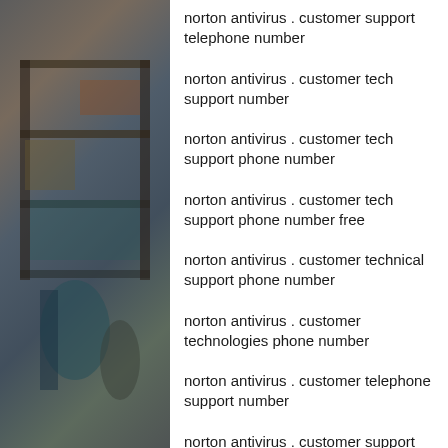[Figure (photo): Dark photo of industrial/mechanical shelving or storage area, muted tones of brown, gray, and teal.]
norton antivirus . customer support telephone number
norton antivirus . customer tech support number
norton antivirus . customer tech support phone number
norton antivirus . customer tech support phone number free
norton antivirus . customer technical support phone number
norton antivirus . customer technologies phone number
norton antivirus . customer telephone support number
norton antivirus . customer support telephone number usa
norton antivirus . customer customer service number